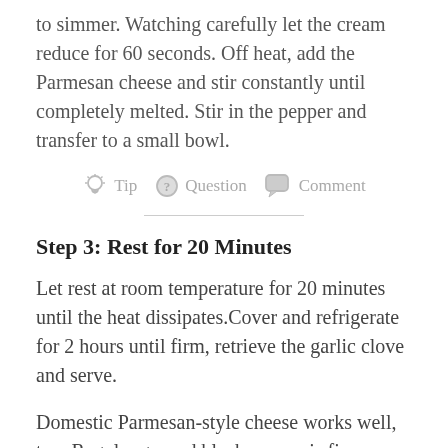to simmer. Watching carefully let the cream reduce for 60 seconds. Off heat, add the Parmesan cheese and stir constantly until completely melted. Stir in the pepper and transfer to a small bowl.
Tip   Question   Comment
Step 3: Rest for 20 Minutes
Let rest at room temperature for 20 minutes until the heat dissipates.Cover and refrigerate for 2 hours until firm, retrieve the garlic clove and serve.
Domestic Parmesan-style cheese works well, too. Regular ground black pepper is fine; however, if you are fussy, you will not like the  specks. This recipe can